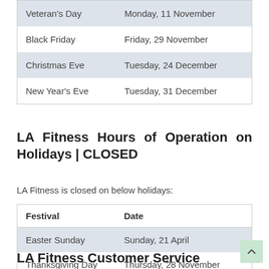| Festival | Date |
| --- | --- |
| Veteran's Day | Monday, 11 November |
| Black Friday | Friday, 29 November |
| Christmas Eve | Tuesday, 24 December |
| New Year's Eve | Tuesday, 31 December |
LA Fitness Hours of Operation on Holidays | CLOSED
LA Fitness is closed on below holidays:
| Festival | Date |
| --- | --- |
| Easter Sunday | Sunday, 21 April |
| Thanksgiving Day | Thursday, 28 November |
| Christmas Day | Wednesday, 25 December |
LA Fitness Customer Service